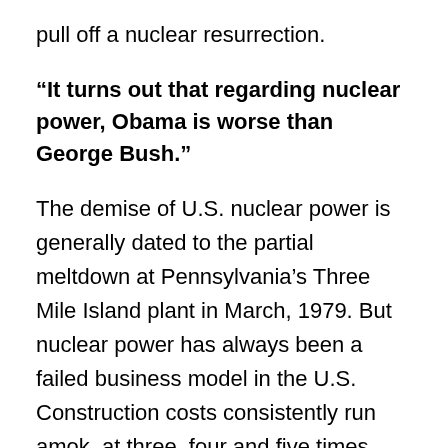pull off a nuclear resurrection.
“It turns out that regarding nuclear power, Obama is worse than George Bush.”
The demise of U.S. nuclear power is generally dated to the partial meltdown at Pennsylvania’s Three Mile Island plant in March, 1979. But nuclear power has always been a failed business model in the U.S. Construction costs consistently run amok, at three, four and five times advertised. The Congressional Budget Office estimates that loans for nuclear plant construction have a more than fifty percent chance of never being repaid. Environmental opposition to nuclear power is not the reason the industry has been moribund for 30 years. Nuclear power was all but dead because private capital saw the industry as a bad risk. So Wall Street helped elect a president who